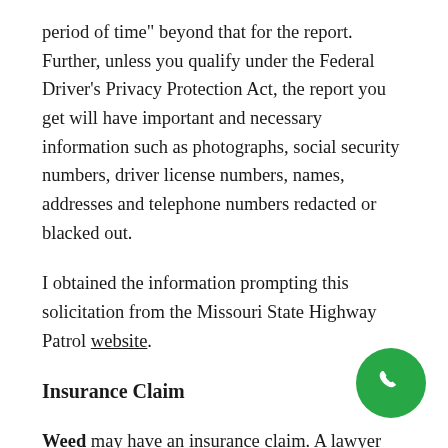period of time" beyond that for the report. Further, unless you qualify under the Federal Driver's Privacy Protection Act, the report you get will have important and necessary information such as photographs, social security numbers, driver license numbers, names, addresses and telephone numbers redacted or blacked out.
I obtained the information prompting this solicitation from the Missouri State Highway Patrol website.
Insurance Claim
Weed may have an insurance claim. A lawyer will maximize the amount collected from the insurance company. In most cases, injured people can receive money for their medical bills, lost wages, and for their pain and suffering—even if a family member